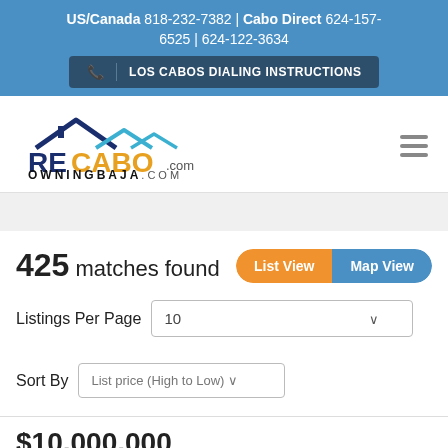US/Canada 818-232-7382 | Cabo Direct 624-157-6525 | 624-122-3634
LOS CABOS DIALING INSTRUCTIONS
[Figure (logo): RECABO OWNINGBAJA.COM logo with house roof icons in blue and cyan, RECABO text in blue and gold, with hamburger menu icon]
425 matches found
List View | Map View
Listings Per Page  10
Sort By  List price (High to Low)